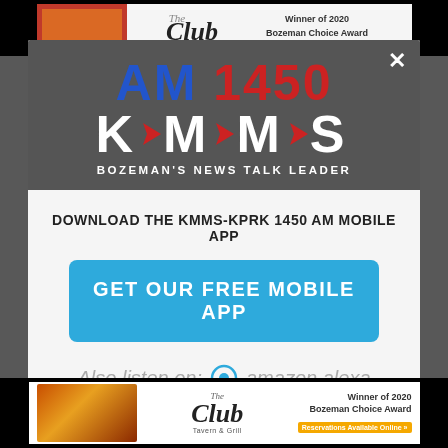[Figure (screenshot): Screenshot of a website showing a modal popup for AM 1450 KMMS radio station, Bozeman's News Talk Leader, with mobile app download prompt and Amazon Alexa listen option. Background shows The Club Tavern & Grill advertisement.]
AM 1450 K·M·M·S BOZEMAN'S NEWS TALK LEADER
DOWNLOAD THE KMMS-KPRK 1450 AM MOBILE APP
GET OUR FREE MOBILE APP
Also listen on: amazon alexa